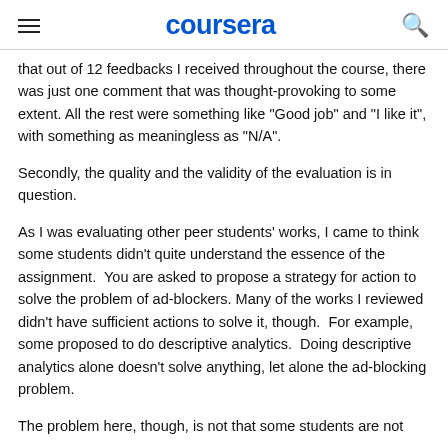coursera
that out of 12 feedbacks I received throughout the course, there was just one comment that was thought-provoking to some extent. All the rest were something like "Good job" and "I like it", with something as meaningless as "N/A".
Secondly, the quality and the validity of the evaluation is in question.
As I was evaluating other peer students' works, I came to think some students didn't quite understand the essence of the assignment.  You are asked to propose a strategy for action to solve the problem of ad-blockers. Many of the works I reviewed didn't have sufficient actions to solve it, though.  For example, some proposed to do descriptive analytics.  Doing descriptive analytics alone doesn't solve anything, let alone the ad-blocking problem.
The problem here, though, is not that some students are not